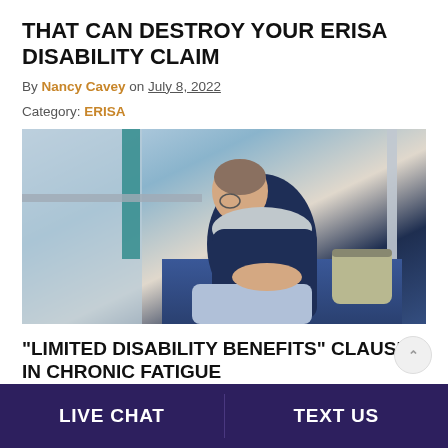THAT CAN DESTROY YOUR ERISA DISABILITY CLAIM
By Nancy Cavey on July 8, 2022
Category: ERISA
[Figure (photo): Man sitting on public transit, hunched over with head down, wearing a navy jacket and grey scarf, with a backpack beside him, appearing exhausted or ill]
“LIMITED DISABILITY BENEFITS” CLAUSES IN CHRONIC FATIGUE
LIVE CHAT | TEXT US